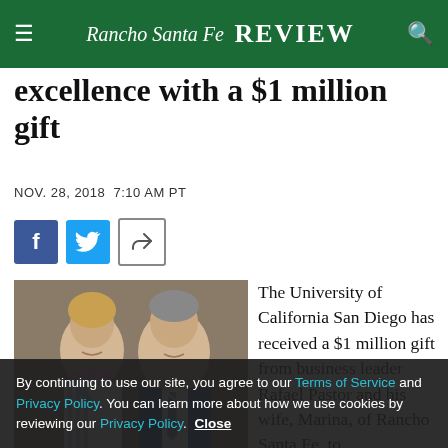Rancho Santa Fe Review
excellence with a $1 million gift
NOV. 28, 2018 7:10 AM PT
[Figure (photo): Social share buttons: Facebook, Twitter, and share arrow icon]
[Figure (photo): Photo of Marina and Rafael Pastor]
Marina and Rafael Pastor
The University of California San Diego has received a $1 million gift from business leader Rafael Pastor and his wife, Marina, of Rancho Santa Fe, to support the Rady School of Business and its Center for Leadership and Strategy. With this gift—to
By continuing to use our site, you agree to our Terms of Service and Privacy Policy. You can learn more about how we use cookies by reviewing our Privacy Policy. Close